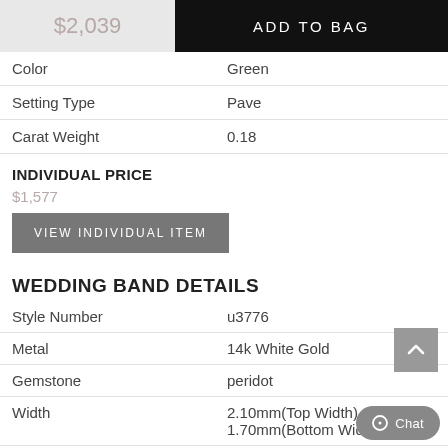$2,039
ADD TO BAG
|  |  |
| --- | --- |
| Color | Green |
| Setting Type | Pave |
| Carat Weight | 0.18 |
INDIVIDUAL PRICE
$1,577
VIEW INDIVIDUAL ITEM
WEDDING BAND DETAILS
|  |  |
| --- | --- |
| Style Number | u3776 |
| Metal | 14k White Gold |
| Gemstone | peridot |
| Width | 2.10mm(Top Width), 1.70mm(Bottom Width) |
| Total Carat | 0.18 |
STONE INFORMATION
|  |  |
| --- | --- |
| Number Of Round Peridots | 8 |